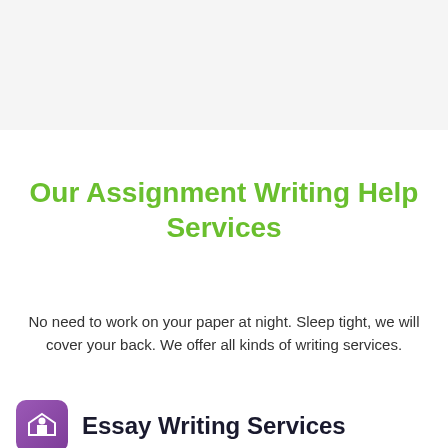[Figure (other): Gray banner area at top of page]
Our Assignment Writing Help Services
No need to work on your paper at night. Sleep tight, we will cover your back. We offer all kinds of writing services.
Essay Writing Services